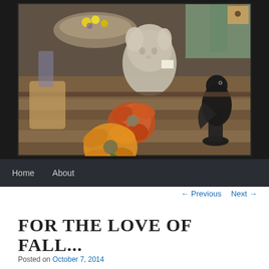[Figure (photo): A rustic wooden table display with fall/autumn themed decorations: orange and yellow fabric flowers, a stone cherub/angel head sculpture, a black raven figurine on a pedestal, small plants in a bowl, and various antique shop items.]
Home   About
← Previous   Next →
FOR THE LOVE OF FALL...
Posted on October 7, 2014